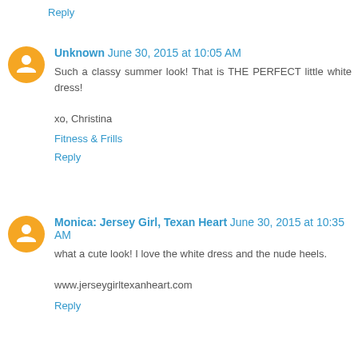Reply
Unknown June 30, 2015 at 10:05 AM
Such a classy summer look! That is THE PERFECT little white dress!

xo, Christina

Fitness & Frills

Reply
Monica: Jersey Girl, Texan Heart June 30, 2015 at 10:35 AM
what a cute look! I love the white dress and the nude heels.

www.jerseygirltexanheart.com

Reply